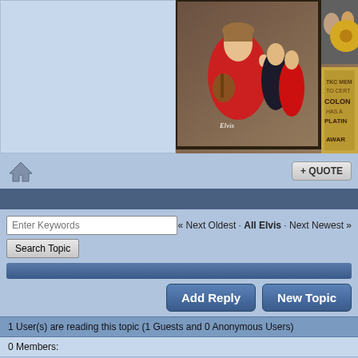[Figure (photo): Forum post with two images: left panel is a light blue placeholder, right panel shows Elvis Presley collage and an award plaque partially visible]
+ QUOTE
« Next Oldest · All Elvis · Next Newest »
Enter Keywords
Search Topic
Add Reply
New Topic
1 User(s) are reading this topic (1 Guests and 0 Anonymous Users)
0 Members:
|-- All Elvis
Lo Fi Version   Time is now: 21st August 2022 · 11:00 AM